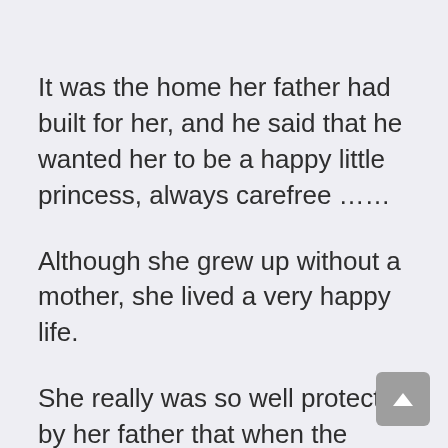It was the home her father had built for her, and he said that he wanted her to be a happy little princess, always carefree ……
Although she grew up without a mother, she lived a very happy life.
She really was so well protected by her father that when the crisis came, it was surprising that she was unaware of it and didn't even have time to react.